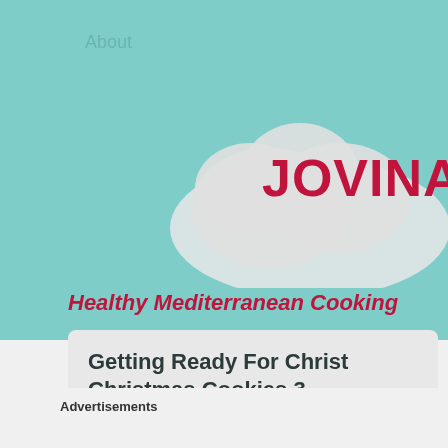About
[Figure (logo): Cloud shape with brand name JOVINA partially visible, on teal background]
Healthy Mediterranean Cooking
Getting Ready For Christmas Cookies 3
December 20, 2018
Advertisements